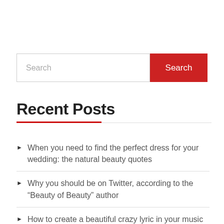[Figure (screenshot): Search bar with text input placeholder 'Search' and a red 'Search' button]
Recent Posts
When you need to find the perfect dress for your wedding: the natural beauty quotes
Why you should be on Twitter, according to the “Beauty of Beauty” author
How to create a beautiful crazy lyric in your music
How to find and edit your favorite GIFs on Instagram